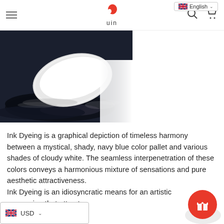uin (logo) — English language selector, search icon, cart icon, hamburger menu
[Figure (photo): Close-up product photo of a white shoe sole against a dark navy/black ink-splattered background, with ink powder/dust dispersing beneath the sole. High contrast black-and-white style image.]
Ink Dyeing is a graphical depiction of timeless harmony between a mystical, shady, navy blue color pallet and various shades of cloudy white. The seamless interpenetration of these colors conveys a harmonious mixture of sensations and pure aesthetic attractiveness.
Ink Dyeing is an idiosyncratic means for an artistic expression that attracts.
USD (currency selector) — gift button